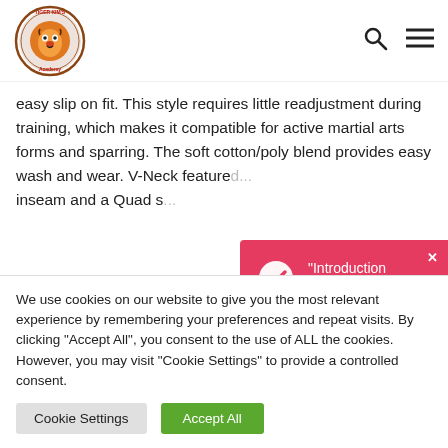[Figure (logo): Tiger Kim's Academy circular logo with tiger illustration]
easy slip on fit. This style requires little readjustment during training, which makes it compatible for active martial arts forms and sparring. The soft cotton/poly blend provides easy wash and wear. V-Neck feature... inseam and a Quad s...
V-neck
TKA Logos with T...
[Figure (infographic): Pink/red notification popup: checkmark circle icon with text '"Introduction Program for two" has been added to your cart.' and an X close button]
We use cookies on our website to give you the most relevant experience by remembering your preferences and repeat visits. By clicking "Accept All", you consent to the use of ALL the cookies. However, you may visit "Cookie Settings" to provide a controlled consent.
Cookie Settings | Accept All